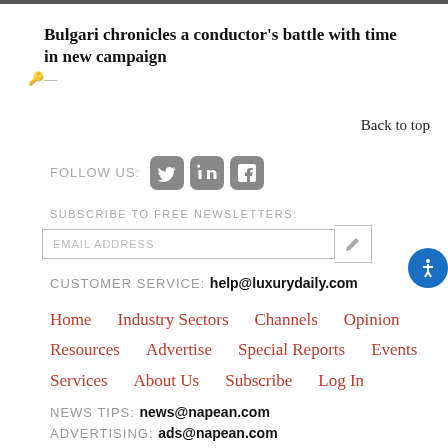Bulgari chronicles a conductor's battle with time in new campaign
Back to top
FOLLOW US:
SUBSCRIBE TO FREE NEWSLETTERS:
EMAIL ADDRESS
CUSTOMER SERVICE: help@luxurydaily.com
Home
Industry Sectors
Channels
Opinion
Resources
Advertise
Special Reports
Events
Services
About Us
Subscribe
Log In
NEWS TIPS: news@napean.com
ADVERTISING: ads@napean.com
SEARCH: